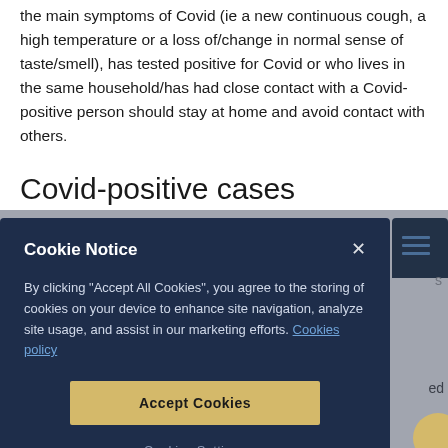the main symptoms of Covid (ie a new continuous cough, a high temperature or a loss of/change in normal sense of taste/smell), has tested positive for Covid or who lives in the same household/has had close contact with a Covid-positive person should stay at home and avoid contact with others.
Covid-positive cases
[Figure (screenshot): Cookie notice modal overlay on a dark blue background. Contains title 'Cookie Notice', body text about accepting cookies, a 'Cookies policy' link, an 'Accept Cookies' button in gold/yellow, and a 'Cookies Settings' text link.]